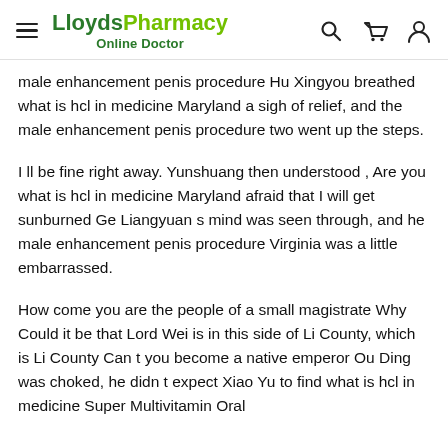LloydsPharmacy Online Doctor
male enhancement penis procedure Hu Xingyou breathed what is hcl in medicine Maryland a sigh of relief, and the male enhancement penis procedure two went up the steps.
I ll be fine right away. Yunshuang then understood , Are you what is hcl in medicine Maryland afraid that I will get sunburned Ge Liangyuan s mind was seen through, and he male enhancement penis procedure Virginia was a little embarrassed.
How come you are the people of a small magistrate Why Could it be that Lord Wei is in this side of Li County, which is Li County Can t you become a native emperor Ou Ding was choked, he didn t expect Xiao Yu to find what is hcl in medicine Super Multivitamin Oral